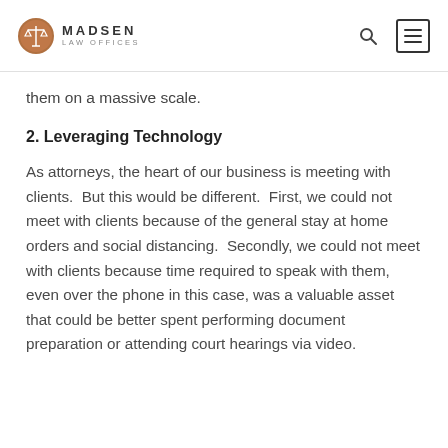MADSEN LAW OFFICES
them on a massive scale.
2. Leveraging Technology
As attorneys, the heart of our business is meeting with clients.  But this would be different.  First, we could not meet with clients because of the general stay at home orders and social distancing.  Secondly, we could not meet with clients because time required to speak with them, even over the phone in this case, was a valuable asset that could be better spent performing document preparation or attending court hearings via video.